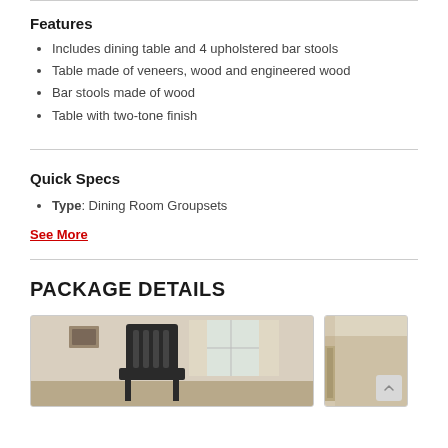Features
Includes dining table and 4 upholstered bar stools
Table made of veneers, wood and engineered wood
Bar stools made of wood
Table with two-tone finish
Quick Specs
Type: Dining Room Groupsets
See More
PACKAGE DETAILS
[Figure (photo): Photo of a dining chair in a room setting with curtains and window in background]
[Figure (photo): Photo of a table corner/edge detail]